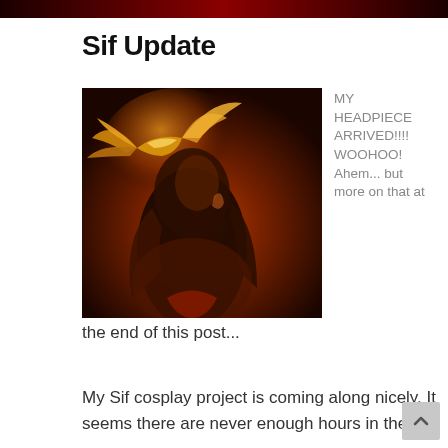Sif Update
[Figure (photo): Dark atmospheric cosplay photo of a person wearing a golden winged headpiece, lit dramatically from behind with warm orange-red light.]
MY HEADPIECE ARRIVED!!!! WOOHOO! Ahem... but more on that at the end of this post...
My Sif cosplay project is coming along nicely. It seems there are never enough hours in the